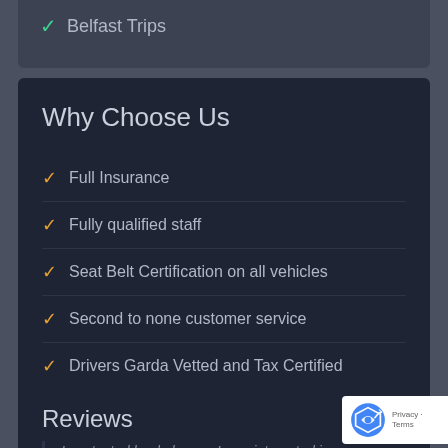Belfast Trips
Why Choose Us
Full Insurance
Fully qualified staff
Seat Belt Certification on all vehicles
Second to none customer service
Drivers Garda Vetted and Tax Certified
Reviews
I contacted bookabus as I was interested in the cheapest quote guarantee that's on the website. I organised a weekend trip to